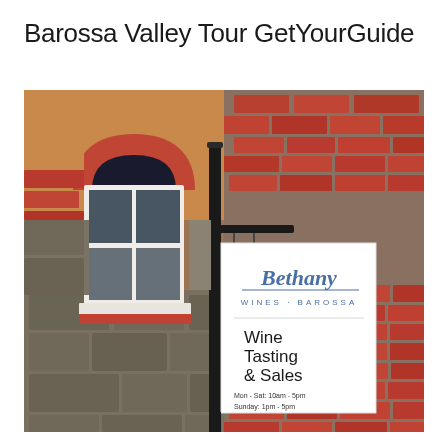Barossa Valley Tour GetYourGuide
[Figure (photo): Photograph of the exterior of Bethany Wines Barossa. A brick and stone building with arched white-framed window. In the foreground is a black metal post holding a white sign reading 'Bethany WINES BAROSSA' in blue script and 'Wine Tasting & Sales Mon-Sat: 10am-5pm Sunday: 1pm-5pm' in black text.]